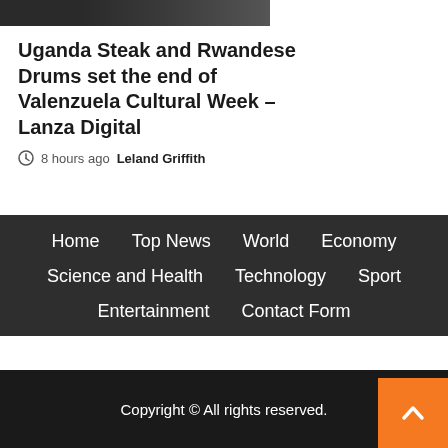[Figure (photo): Partial image at top of page showing dark scene with a red bar element]
Uganda Steak and Rwandese Drums set the end of Valenzuela Cultural Week – Lanza Digital
8 hours ago  Leland Griffith
Home
Top News
World
Economy
Science and Health
Technology
Sport
Entertainment
Contact Form
Copyright © All rights reserved.